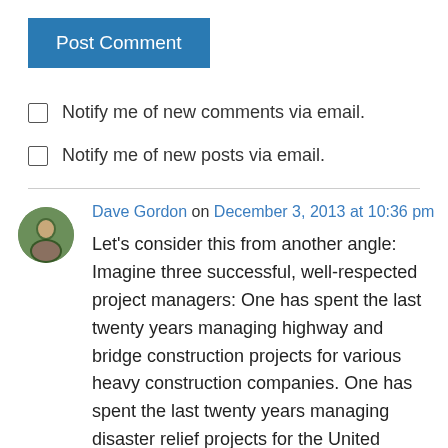[Figure (other): Blue 'Post Comment' button]
Notify me of new comments via email.
Notify me of new posts via email.
Dave Gordon on December 3, 2013 at 10:36 pm
Let's consider this from another angle: Imagine three successful, well-respected project managers: One has spent the last twenty years managing highway and bridge construction projects for various heavy construction companies. One has spent the last twenty years managing disaster relief projects for the United Nations and NGO's. And one has spent the last